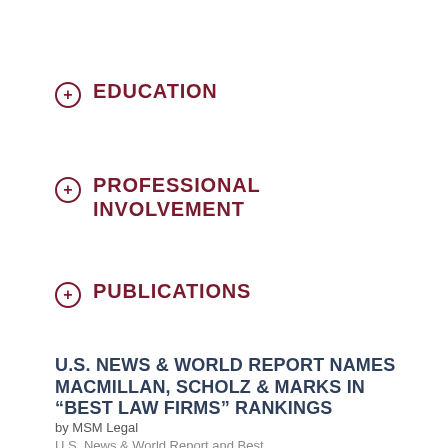EDUCATION
PROFESSIONAL INVOLVEMENT
PUBLICATIONS
U.S. NEWS & WORLD REPORT NAMES MACMILLAN, SCHOLZ & MARKS IN “BEST LAW FIRMS” RANKINGS
by MSM Legal
U.S. News & World Report and Best